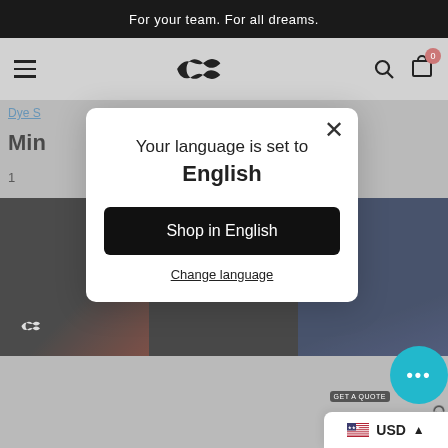For your team. For all dreams.
[Figure (screenshot): E-commerce website navigation bar with hamburger menu, infinity loop logo, search icon, and cart icon with 0 items]
Dye S
Min
1
[Figure (photo): Three product thumbnail images showing sportswear items in dark colors]
[Figure (screenshot): Language selection modal dialog. Text: Your language is set to English. Button: Shop in English. Link: Change language. Close X button in top right corner.]
[Figure (other): Customer chat support button (blue circle with dots) and GET A QUOTE label]
USD